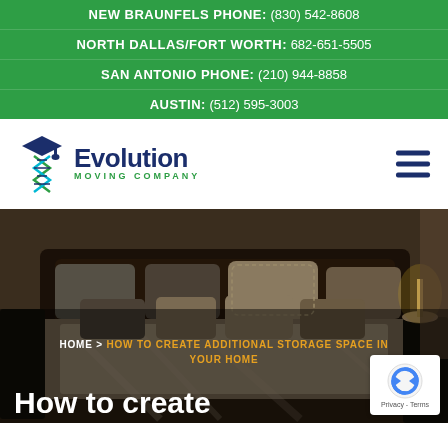NEW BRAUNFELS PHONE: (830) 542-8608
NORTH DALLAS/FORT WORTH: 682-651-5505
SAN ANTONIO PHONE: (210) 944-8858
AUSTIN: (512) 595-3003
[Figure (logo): Evolution Moving Company logo — teal/blue DNA helix with graduation cap icon on left, 'Evolution' in bold dark navy blue text, 'MOVING COMPANY' in small green spaced caps below]
[Figure (photo): Bedroom photo showing a large dark wood bed with many pillows in beige, grey, and brown tones, warm lamp light, viewed from slight angle]
HOME > HOW TO CREATE ADDITIONAL STORAGE SPACE IN YOUR HOME
How to create